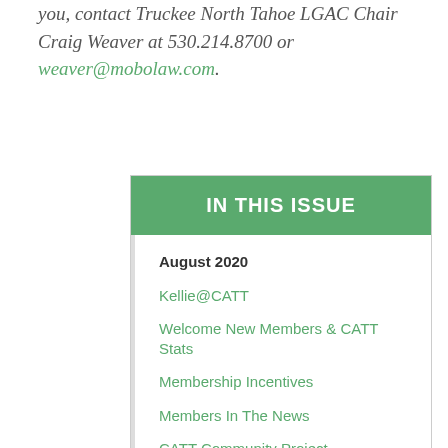you, contact Truckee North Tahoe LGAC Chair Craig Weaver at 530.214.8700 or weaver@mobolaw.com.
IN THIS ISSUE
August 2020
Kellie@CATT
Welcome New Members & CATT Stats
Membership Incentives
Members In The News
CATT Community Project
Truckee North Tahoe Local Government Affairs Committee
South Lake Tahoe Local Government Affairs Committee